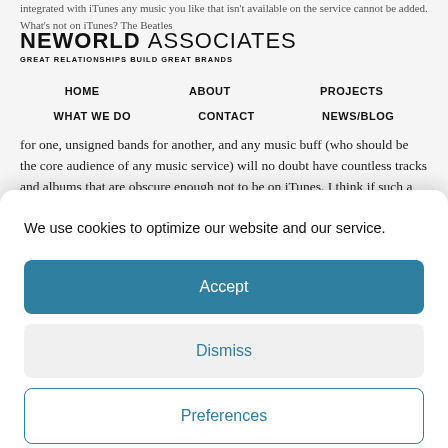NEWORLD ASSOCIATES — GREAT RELATIONSHIPS BUILD GREAT BRANDS
integrated with iTunes any music you like that isn't available on the service cannot be added. What's not on iTunes? The Beatles for one, unsigned bands for another, and any music buff (who should be the core audience of any music service) will no doubt have countless tracks and albums that are obscure enough not to be on iTunes. I think if such a narrow focus was removed, and Ping opened up a little bit further then the service could gain more traction.
We use cookies to optimize our website and our service.
Accept
Dismiss
Preferences
Cookie Policy  Privacy